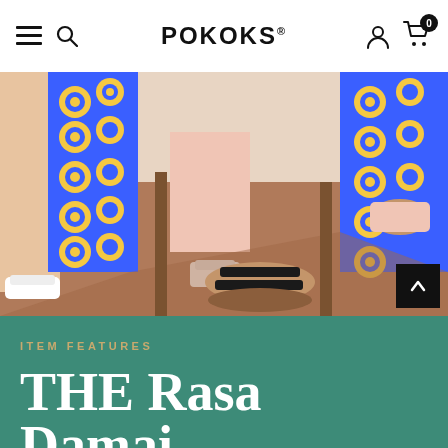POKOKS
[Figure (photo): Fashion photo showing people wearing colorful patterned clothing and various footwear including white sneakers and black sandals, seated on chairs against a terracotta floor background.]
ITEM FEATURES
THE Rasa Damai